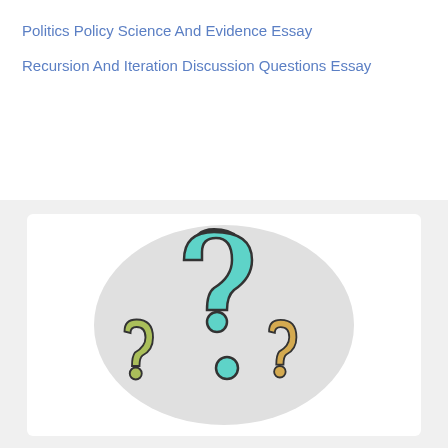Politics Policy Science And Evidence Essay
Recursion And Iteration Discussion Questions Essay
[Figure (illustration): Three question mark symbols in teal, olive/green, and yellow/gold colors arranged in a cluster on a light gray circular background, with black outlines.]